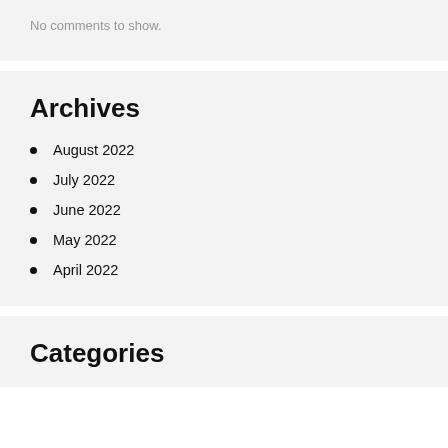No comments to show.
Archives
August 2022
July 2022
June 2022
May 2022
April 2022
Categories